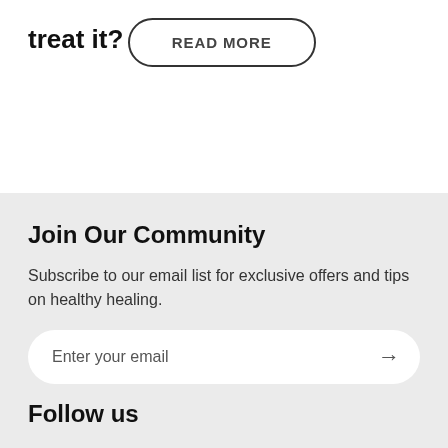treat it?
READ MORE
Join Our Community
Subscribe to our email list for exclusive offers and tips on healthy healing.
Enter your email
Follow us